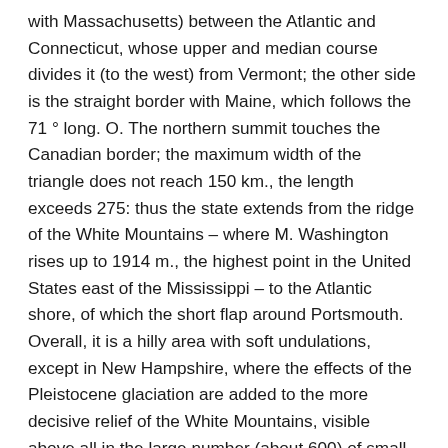with Massachusetts) between the Atlantic and Connecticut, whose upper and median course divides it (to the west) from Vermont; the other side is the straight border with Maine, which follows the 71 ° long. O. The northern summit touches the Canadian border; the maximum width of the triangle does not reach 150 km., the length exceeds 275: thus the state extends from the ridge of the White Mountains – where M. Washington rises up to 1914 m., the highest point in the United States east of the Mississippi – to the Atlantic shore, of which the short flap around Portsmouth. Overall, it is a hilly area with soft undulations, except in New Hampshire, where the effects of the Pleistocene glaciation are added to the more decisive relief of the White Mountains, visible above all in the large number (about 600) of small and medium lakes, as a rule elongated in the sense of the valleys, which decline regularly from north to south This mountain area partly retains the original woodland mantle, which in S. del Lago